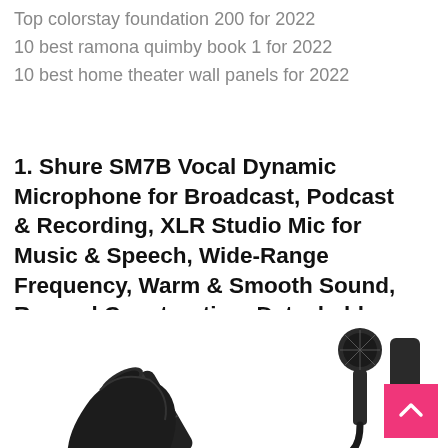Top colorstay foundation 200 for 2022
10 best ramona quimby book 1 for 2022
10 best home theater wall panels for 2022
1. Shure SM7B Vocal Dynamic Microphone for Broadcast, Podcast & Recording, XLR Studio Mic for Music & Speech, Wide-Range Frequency, Warm & Smooth Sound, Rugged Construction, Detachable Windscreen - Black
[Figure (photo): Photo of a Shure SM7B microphone in black, showing the head of the microphone and mount/yoke assembly against a white background]